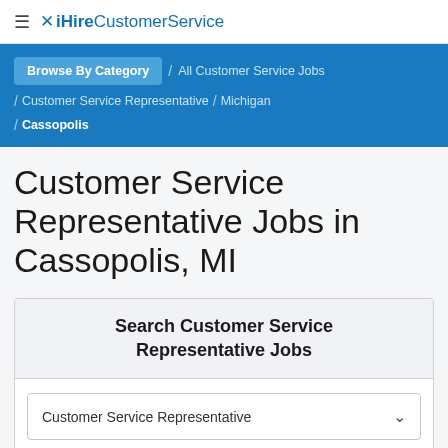≡ ✗ iHireCustomerService
Browse By Category / All Customer Service Jobs / Customer Service Representative / Michigan / Cassopolis
Customer Service Representative Jobs in Cassopolis, MI
Search Customer Service Representative Jobs
Customer Service Representative ∨